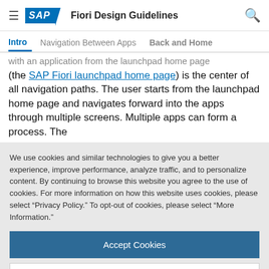SAP Fiori Design Guidelines
Intro | Navigation Between Apps | Back and Home
with an application from the launchpad home page (the SAP Fiori launchpad home page) is the center of all navigation paths. The user starts from the launchpad home page and navigates forward into the apps through multiple screens. Multiple apps can form a process. The
We use cookies and similar technologies to give you a better experience, improve performance, analyze traffic, and to personalize content. By continuing to browse this website you agree to the use of cookies. For more information on how this website uses cookies, please select “Privacy Policy.” To opt-out of cookies, please select “More Information.”
Accept Cookies
More Information
Privacy Policy | Powered by: TrustArc